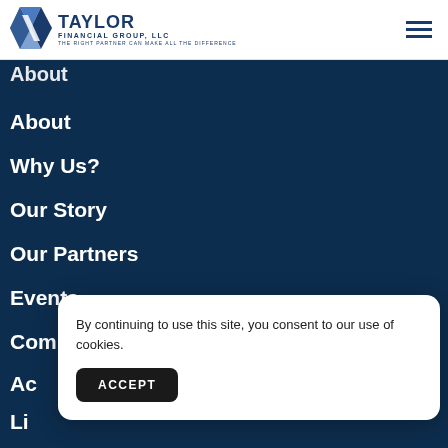[Figure (logo): Taylor Financial Group, LLC logo with geometric diamond/arrow shape in blue and white, tagline: THE RIGHT PARTNER CAN MAKE ALL THE DIFFERENCE]
About
About
Why Us?
Our Story
Our Partners
Events
Community Support
Ac[partially visible]
Li[partially visible]
S[partially visible]
By continuing to use this site, you consent to our use of cookies.
ACCEPT